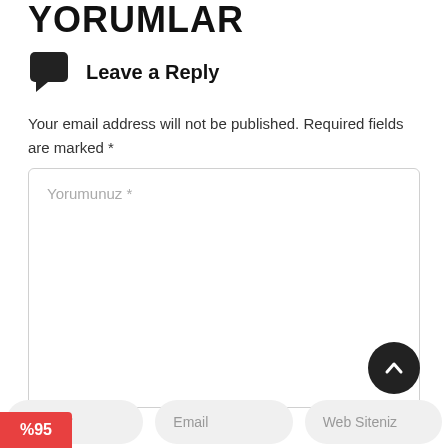YORUMLAR
Leave a Reply
Your email address will not be published. Required fields are marked *
Yorumunuz *
Adınız *
Email
Web Siteniz
%95